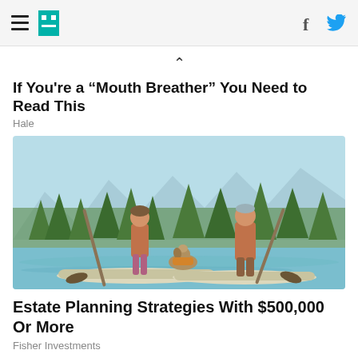If You're a "Mouth Breather" You Need to Read This
Hale
[Figure (illustration): Illustration of two people and a dog paddle-boarding on a lake, surrounded by trees and mountains. Both people wear orange life vests and use paddles. A dog sits between them on one of the boards.]
Estate Planning Strategies With $500,000 Or More
Fisher Investments